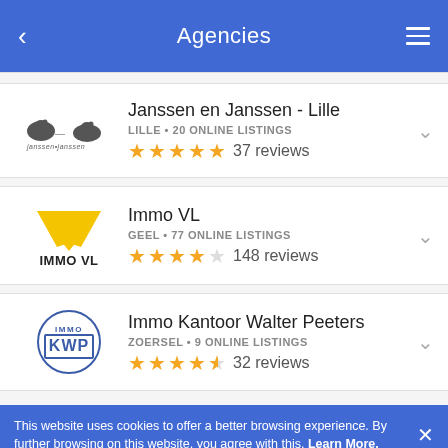Agencies
Janssen en Janssen - Lille
LILLE • 20 ONLINE LISTINGS
★★★★★ 37 reviews
Immo VL
GEEL • 77 ONLINE LISTINGS
★★★★☆ 148 reviews
Immo Kantoor Walter Peeters
ZOERSEL • 9 ONLINE LISTINGS
★★★★½ 32 reviews
This website uses cookies to offer a better browsing experience. By further browsing on this website, you agree with this. Learn More.